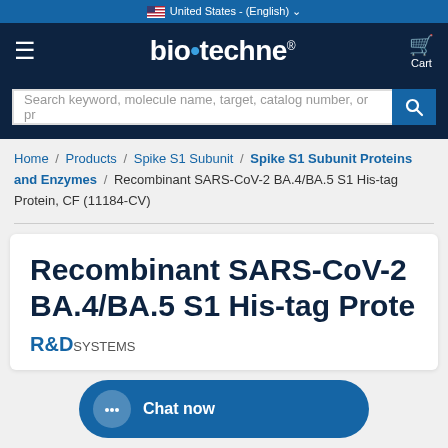🇺🇸 United States - (English)
[Figure (logo): bio-techne logo in white on dark navy background with hamburger menu and cart icon]
Search keyword, molecule name, target, catalog number, or pr
Home / Products / Spike S1 Subunit / Spike S1 Subunit Proteins and Enzymes / Recombinant SARS-CoV-2 BA.4/BA.5 S1 His-tag Protein, CF (11184-CV)
Recombinant SARS-CoV-2 BA.4/BA.5 S1 His-tag Prote
Chat now